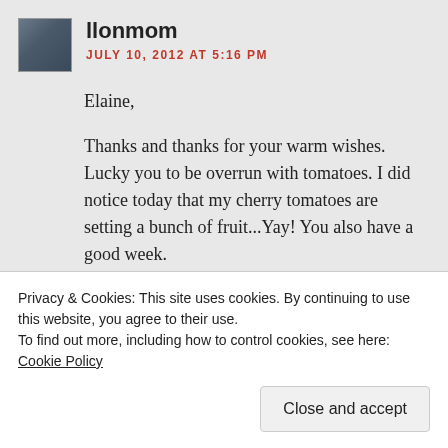llonmom
JULY 10, 2012 AT 5:16 PM
Elaine,
Thanks and thanks for your warm wishes. Lucky you to be overrun with tomatoes. I did notice today that my cherry tomatoes are setting a bunch of fruit...Yay! You also have a good week.
Yael
★ Like
Privacy & Cookies: This site uses cookies. By continuing to use this website, you agree to their use.
To find out more, including how to control cookies, see here: Cookie Policy
Close and accept